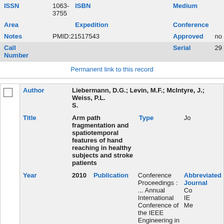| ISSN | 1063-3755 | ISBN |  | Medium |
| Area |  | Expedition |  | Conference |
| Notes | PMID:21517543 | Approved | no |
| Call Number |  | Serial | 29 |
Permanent link to this record
| Author | Liebermann, D.G.; Levin, M.F.; McIntyre, J.; Weiss, P.L.; S. |  |  |  |
| Title | Arm path fragmentation and spatiotemporal features of hand reaching in healthy subjects and stroke patients | Type | Jo |
| Year | 2010 | Publication | Conference Proceedings : ... Annual International Conference of the IEEE Engineering in Medicine and | Abbreviated Journal | Co IE Me |